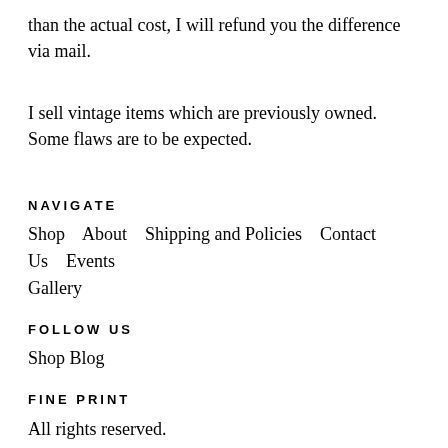than the actual cost, I will refund you the difference via mail.
I sell vintage items which are previously owned. Some flaws are to be expected.
NAVIGATE
Shop    About    Shipping and Policies    Contact Us    Events    Gallery
FOLLOW US
Shop Blog
FINE PRINT
All rights reserved.
© 2022 RandysGallery
Powered by Etsy